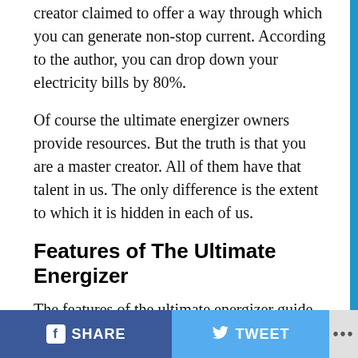creator claimed to offer a way through which you can generate non-stop current. According to the author, you can drop down your electricity bills by 80%.
Of course the ultimate energizer owners provide resources. But the truth is that you are a master creator. All of them have that talent in us. The only difference is the extent to which it is hidden in each of us.
Features of The Ultimate Energizer
The features of the ultimate energizer guide are as follows:-. This program guide will help you to design a the ultimate energizer generator which will follow the rules of linear induction motor which is built around a track that is orbicular to maintain the smooth motion of rotors that are transportable.
SHARE   TWEET   ...